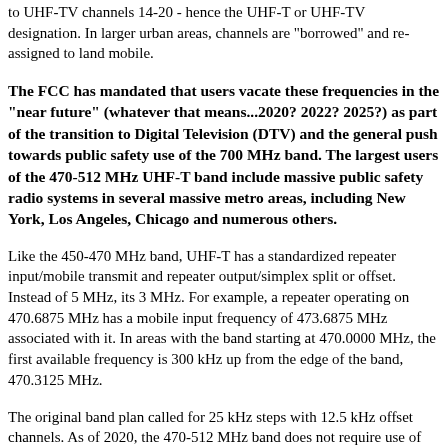to UHF-TV channels 14-20 - hence the UHF-T or UHF-TV designation. In larger urban areas, channels are "borrowed" and re-assigned to land mobile.
The FCC has mandated that users vacate these frequencies in the "near future" (whatever that means...2020? 2022? 2025?) as part of the transition to Digital Television (DTV) and the general push towards public safety use of the 700 MHz band. The largest users of the 470-512 MHz UHF-T band include massive public safety radio systems in several massive metro areas, including New York, Los Angeles, Chicago and numerous others.
Like the 450-470 MHz band, UHF-T has a standardized repeater input/mobile transmit and repeater output/simplex split or offset. Instead of 5 MHz, its 3 MHz. For example, a repeater operating on 470.6875 MHz has a mobile input frequency of 473.6875 MHz associated with it. In areas with the band starting at 470.0000 MHz, the first available frequency is 300 kHz up from the edge of the band, 470.3125 MHz.
The original band plan called for 25 kHz steps with 12.5 kHz offset channels. As of 2020, the 470-512 MHz band does not require use of 12.5 kHz channels narrow band modulation (NFM, DMR, NXDN, P25, etc.) emissions. However, many cities where the UHF-T band is used suffer from extreme land mobile radio channel congestion...